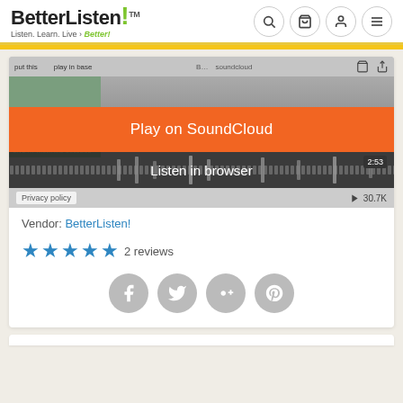[Figure (screenshot): BetterListen! website header with logo on left and navigation icons (search, cart, user, menu) on right]
[Figure (screenshot): SoundCloud embedded player showing 'Play on SoundCloud' orange button overlay and 'Listen in browser' overlay, with album art for Coleman Barks reading, waveform, timer 2:53, and 30.7K plays]
Vendor: BetterListen!
★★★★★ 2 reviews
[Figure (other): Social sharing buttons: Facebook, Twitter, Google+, Pinterest (all grey circles)]